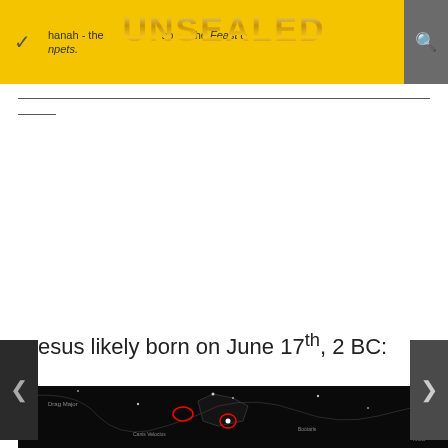UNSEALED — hanah - the Feast of Trumpets
——
Jesus likely born on June 17th, 2 BC:
[Figure (illustration): Astronomy star map on dark background showing constellation figures including Leo, Draco, Virgo and others. Two red circles highlight specific star positions. Constellation lines and mythological figure illustrations in dark gray on black background.]